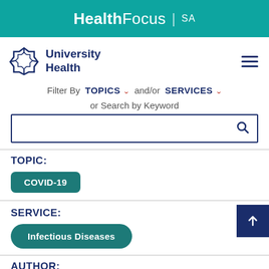HealthFocus | SA
[Figure (logo): University Health logo with octagon star and text]
Filter By TOPICS and/or SERVICES
or Search by Keyword
TOPIC:
COVID-19
SERVICE:
Infectious Diseases
AUTHOR: